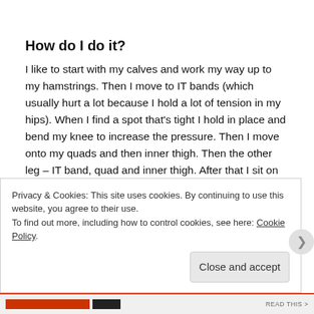How do I do it?
I like to start with my calves and work my way up to my hamstrings. Then I move to IT bands (which usually hurt a lot because I hold a lot of tension in my hips). When I find a spot that's tight I hold in place and bend my knee to increase the pressure. Then I move onto my quads and then inner thigh. Then the other leg – IT band, quad and inner thigh. After that I sit on the foam roller rolling over my glutes sometimes crossing my leg putting my ankle to my opposite knee to dig in deeper, switch sides. At the end I lay on the foam roller in line with my spine and up my arms up
Privacy & Cookies: This site uses cookies. By continuing to use this website, you agree to their use.
To find out more, including how to control cookies, see here: Cookie Policy
Close and accept